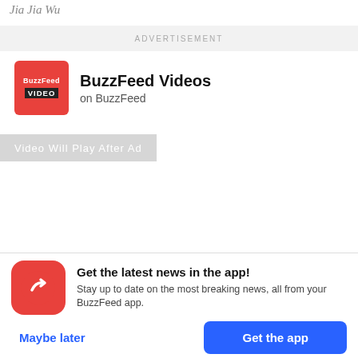Jia Jia Wu
ADVERTISEMENT
[Figure (logo): BuzzFeed Video red square logo]
BuzzFeed Videos
on BuzzFeed
Video Will Play After Ad
[Figure (logo): BuzzFeed red circle app icon with white trending arrow]
Get the latest news in the app! Stay up to date on the most breaking news, all from your BuzzFeed app.
Maybe later
Get the app